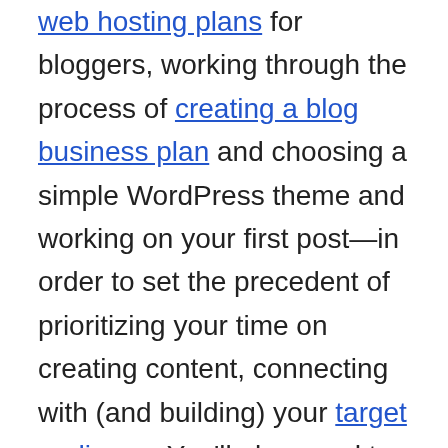web hosting plans for bloggers, working through the process of creating a blog business plan and choosing a simple WordPress theme and working on your first post—in order to set the precedent of prioritizing your time on creating content, connecting with (and building) your target audience. You'll also need to employ the right blogging tools to grow your blog along the way.